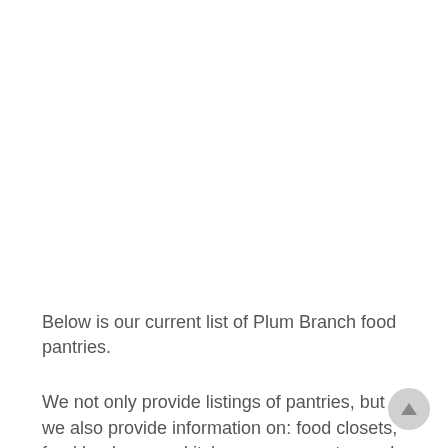Below is our current list of Plum Branch food pantries.
We not only provide listings of pantries, but we also provide information on: food closets, food banks, soup kitchens, congregate meal locations, food boxes,